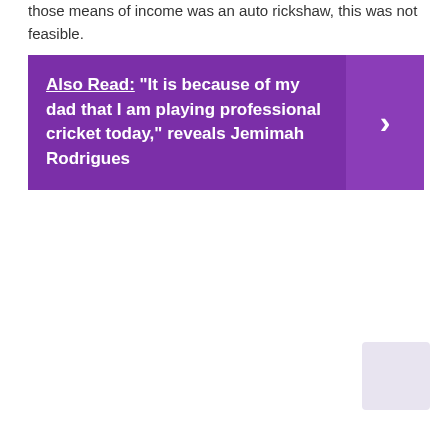those means of income was an auto rickshaw, this was not feasible.
[Figure (screenshot): Purple banner with 'Also Read:' label and text: "It is because of my dad that I am playing professional cricket today," reveals Jemimah Rodrigues, with a right-arrow chevron button on the right side.]
[Figure (screenshot): Light purple/lavender back-to-top button in bottom right corner.]